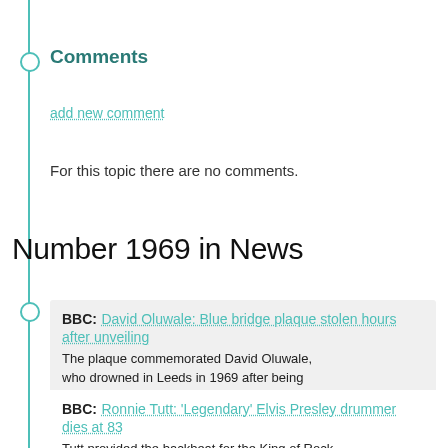Comments
add new comment
For this topic there are no comments.
Number 1969 in News
BBC: David Oluwale: Blue bridge plaque stolen hours after unveiling
The plaque commemorated David Oluwale, who drowned in Leeds in 1969 after being chased by police.
April 26, 2022
BBC: Ronnie Tutt: 'Legendary' Elvis Presley drummer dies at 83
Tutt provided the backbeat for the King of Rock 'n' Roll's 1969 Taking Care of Business tour.
Oct. 18, 2021